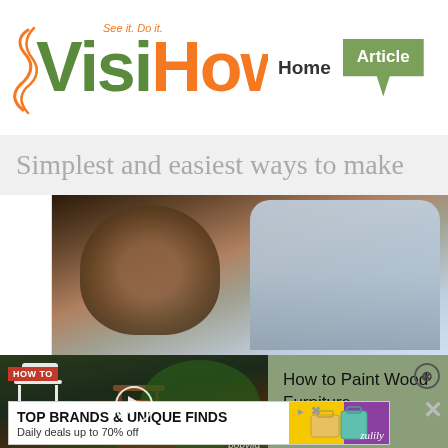[Figure (logo): VisiHow logo with orange 'See it. Do it.' tagline and green/orange text]
Home   Articles
Simplest and easiest ways to make
[Figure (photo): Photo of people, blurred/pixelated]
[Figure (screenshot): Video thumbnail showing chairs and paint bucket with HOW TO badge and play button, labeled bobvila]
How to Paint Wood Furniture
[Figure (photo): Advertisement banner: TOP BRANDS & UNIQUE FINDS - Daily deals up to 70% off - Zulily]